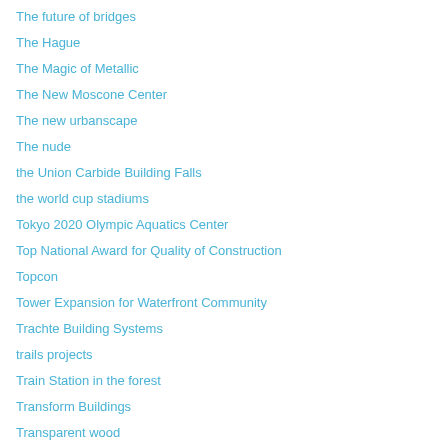The future of bridges
The Hague
The Magic of Metallic
The New Moscone Center
The new urbanscape
The nude
the Union Carbide Building Falls
the world cup stadiums
Tokyo 2020 Olympic Aquatics Center
Top National Award for Quality of Construction
Topcon
Tower Expansion for Waterfront Community
Trachte Building Systems
trails projects
Train Station in the forest
Transform Buildings
Transparent wood
Trending: Winter Falls